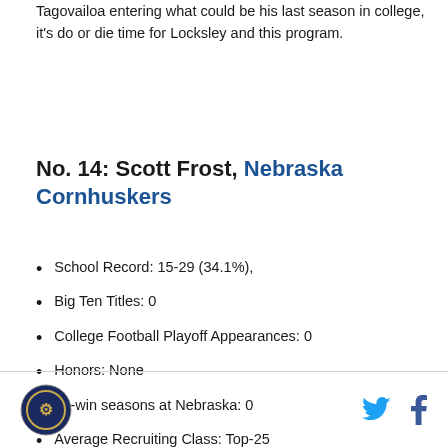Tagovailoa entering what could be his last season in college, it's do or die time for Locksley and this program.
No. 14: Scott Frost, Nebraska Cornhuskers
School Record: 15-29 (34.1%),
Big Ten Titles: 0
College Football Playoff Appearances: 0
Honors: None
10-win seasons at Nebraska: 0
Average Recruiting Class: Top-25